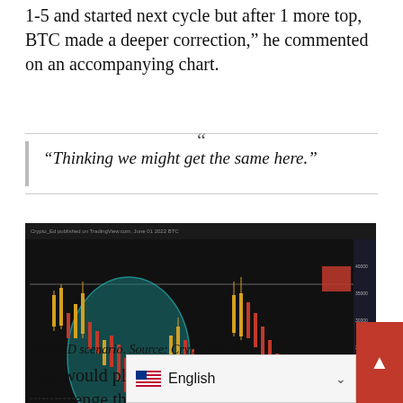1-5 and started next cycle but after 1 more top, BTC made a deeper correction," he commented on an accompanying chart.
“Thinking we might get the same here.”
[Figure (screenshot): BTC/USD candlestick chart on dark background with teal ellipse highlighting a previous cycle pattern on the left, a horizontal resistance line, a red rectangle at top right indicating a sell/resistance zone, and a white projected price path curving down then up at the right side. TradingView watermark visible at bottom left.]
BTC/USD scenario. Source: Crypto Ed/ Tw...
That would place Bitcoin in a position to rechallenge the $20,000 c...